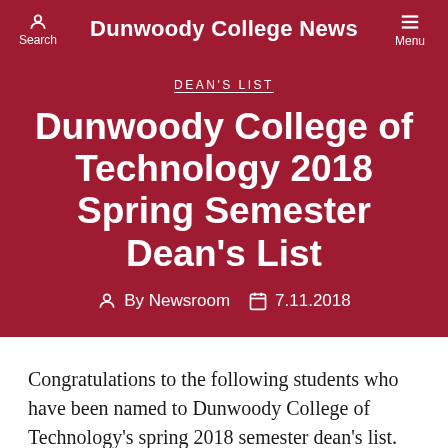Dunwoody College News  Search  Menu
DEAN'S LIST
Dunwoody College of Technology 2018 Spring Semester Dean's List
By Newsroom  7.11.2018
Congratulations to the following students who have been named to Dunwoody College of Technology's spring 2018 semester dean's list.